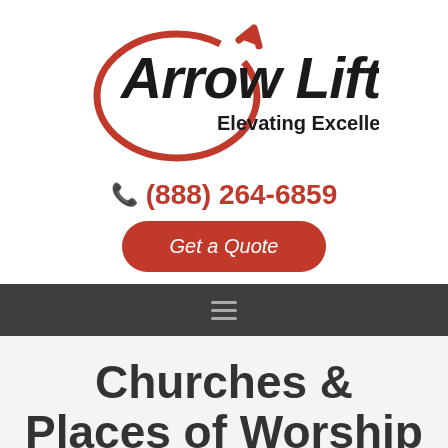[Figure (logo): Arrow Lift logo with red circular arrow graphic, bold black italic 'Arrow Lift' text, and 'Elevating Excellence' tagline]
(888) 264-6859
Get a Quote
Churches & Places of Worship